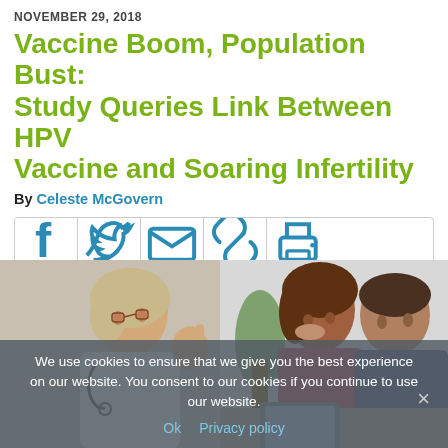NOVEMBER 29, 2018
Vaccine Boom, Population Bust: Study Queries Link Between HPV Vaccine and Soaring Infertility
By Celeste McGovern
[Figure (infographic): Social sharing bar with icons for Facebook, Twitter, email, link/copy, and print]
[Figure (photo): Photo of a female doctor speaking to a distressed young couple (woman with head in hand, man looking down), overlaid with a cookie consent banner]
We use cookies to ensure that we give you the best experience on our website. You consent to our cookies if you continue to use our website.
Ok   Privacy policy